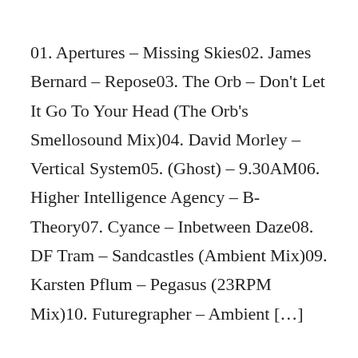01. Apertures – Missing Skies02. James Bernard – Repose03. The Orb – Don't Let It Go To Your Head (The Orb's Smellosound Mix)04. David Morley – Vertical System05. (Ghost) – 9.30AM06. Higher Intelligence Agency – B-Theory07. Cyance – Inbetween Daze08. DF Tram – Sandcastles (Ambient Mix)09. Karsten Pflum – Pegasus (23RPM Mix)10. Futuregrapher – Ambient […]